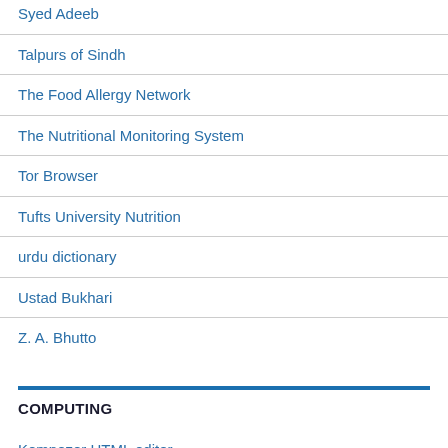Syed Adeeb
Talpurs of Sindh
The Food Allergy Network
The Nutritional Monitoring System
Tor Browser
Tufts University Nutrition
urdu dictionary
Ustad Bukhari
Z. A. Bhutto
COMPUTING
Kompozer HTML editor